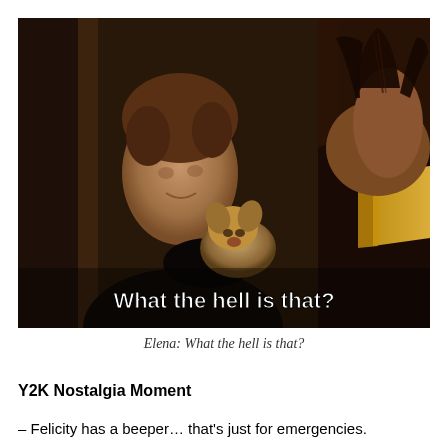[Figure (screenshot): A dark TV show still/screenshot showing a woman with short hair holding a small puppy, facing another person seen from behind (with braided hair and yellow-striped top). White subtitle text at bottom reads: 'What the hell is that?']
Elena: What the hell is that?
Y2K Nostalgia Moment
– Felicity has a beeper… that's just for emergencies.